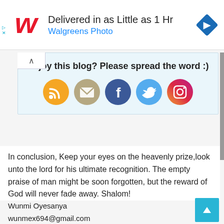[Figure (other): Walgreens Photo advertisement banner: Walgreens cursive W logo, text 'Delivered in as Little as 1 Hr' and 'Walgreens Photo' in blue, navigation diamond icon on right]
Enjoy this blog? Please spread the word :)
[Figure (infographic): Row of 5 social media sharing icons: RSS (orange), Email (tan/gold), Facebook (blue), Twitter (light blue), Instagram (purple/pink gradient)]
In conclusion, Keep your eyes on the heavenly prize,look unto the lord for his ultimate recognition. The empty praise of man might be soon forgotten, but the reward of God will never fade away. Shalom!
Wunmi Oyesanya
wunmex694@gmail.com